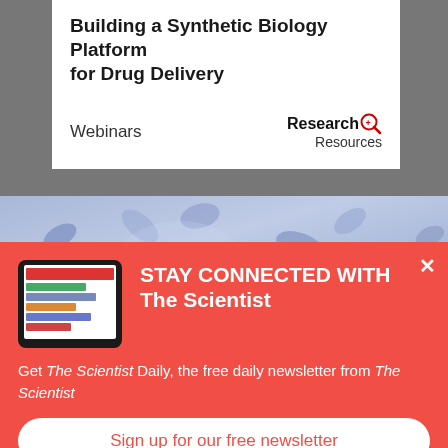Building a Synthetic Biology Platform for Drug Delivery
Webinars
[Figure (logo): Research+ Resources logo with magnifying glass icon]
[Figure (photo): Blue-tinted microscopy image showing chromosome-like biological structures]
STAY CONNECTED WITH The Scientist
Get The Scientist Daily, the free daily newsletter from The Scientist
Sign up for our free newsletter